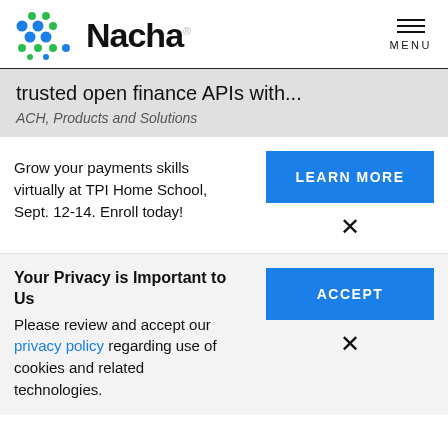[Figure (logo): Nacha logo with colorful dot grid and bold Nacha wordmark]
trusted open finance APIs with...
ACH, Products and Solutions
Grow your payments skills virtually at TPI Home School, Sept. 12-14. Enroll today!
LEARN MORE
Your Privacy is Important to Us
Please review and accept our privacy policy regarding use of cookies and related technologies.
ACCEPT